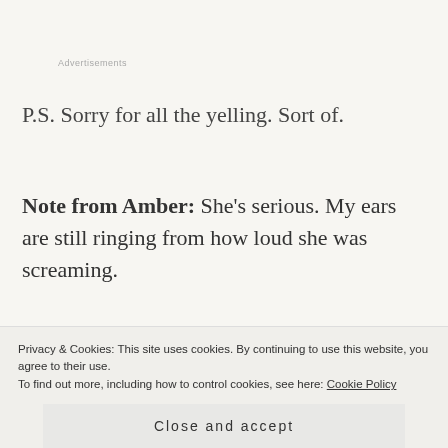Advertisements
P.S. Sorry for all the yelling. Sort of.
Note from Amber: She's serious. My ears are still ringing from how loud she was screaming.
4. What are 3 books of the year:
Privacy & Cookies: This site uses cookies. By continuing to use this website, you agree to their use.
To find out more, including how to control cookies, see here: Cookie Policy
Close and accept